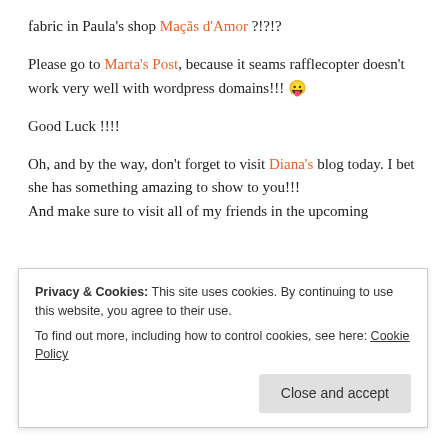fabric in Paula's shop Maçãs d'Amor ?!?!?
Please go to Marta's Post, because it seams rafflecopter doesn't work very well with wordpress domains!!! 😛
Good Luck !!!!
Oh, and by the way, don't forget to visit Diana's blog today. I bet she has something amazing to show to you!!!
And make sure to visit all of my friends in the upcoming
Privacy & Cookies: This site uses cookies. By continuing to use this website, you agree to their use.
To find out more, including how to control cookies, see here: Cookie Policy
Close and accept